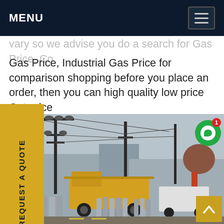MENU
vary so we advise you do a search for Gas Price, Co Gas Price, Industrial Gas Price for comparison shopping before you place an order, then you can high quality low price Get price
[Figure (photo): Industrial gas cylinder filling station with yellow truck and high-voltage electrical equipment and power lines in background]
REQUEST A QUOTE